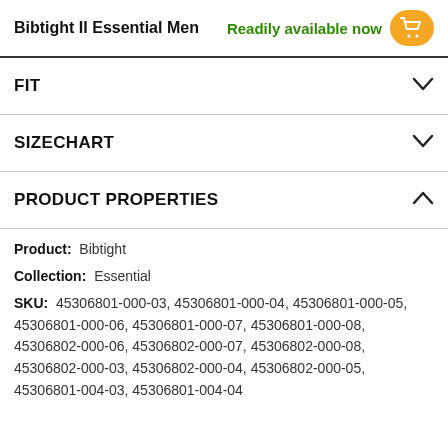Bibtight II Essential Men   Readily available now
FIT
SIZECHART
PRODUCT PROPERTIES
Product:  Bibtight
Collection:  Essential
SKU:  45306801-000-03, 45306801-000-04, 45306801-000-05, 45306801-000-06, 45306801-000-07, 45306801-000-08, 45306802-000-06, 45306802-000-07, 45306802-000-08, 45306802-000-03, 45306802-000-04, 45306802-000-05, 45306801-004-03, 45306801-004-04